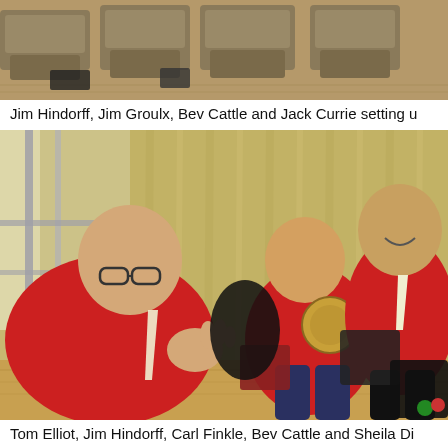[Figure (photo): Top portion of a photo showing empty chairs/seats in a room with wooden flooring, partially cropped at top of page]
Jim Hindorff, Jim Groulx, Bev Cattle and Jack Currie setting u
[Figure (photo): Three men wearing red shirts in a room with gold/tan curtains. The man in the foreground on the left is gesturing with his hands and wearing glasses. The man in the middle is seated holding what appears to be a tambourine. The man on the right is standing and smiling, wearing a white tie. Musical equipment and luggage cases are visible on the floor.]
Tom Elliot, Jim Hindorff, Carl Finkle, Bev Cattle and Sheila Di